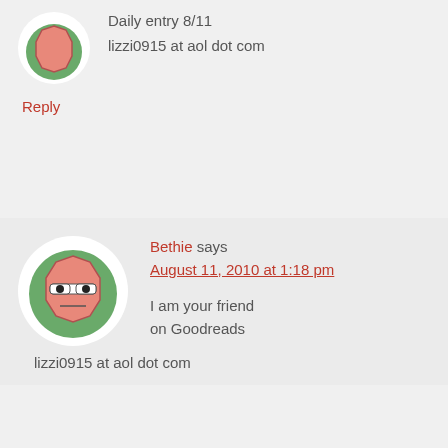[Figure (illustration): Partial avatar icon — green circle with salmon/coral colored octagon shape, cropped at top]
Daily entry 8/11
lizzi0915 at aol dot com
Reply
[Figure (illustration): Avatar icon — circular white background with green circle containing a salmon/coral octagon face with glasses and neutral expression]
Bethie says August 11, 2010 at 1:18 pm
I am your friend on Goodreads
lizzi0915 at aol dot com